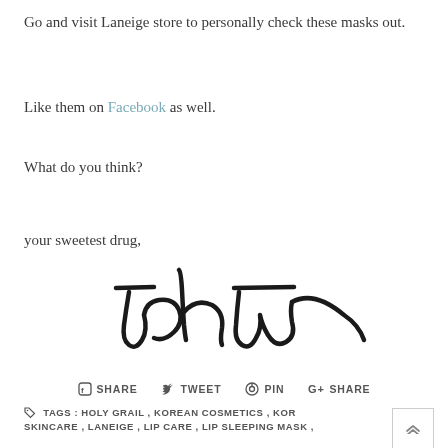Go and visit Laneige store to personally check these masks out.
Like them on Facebook as well.
What do you think?
your sweetest drug,
[Figure (illustration): Handwritten cursive signature reading 'ichi' in black ink]
SHARE   TWEET   PIN   SHARE
TAGS : HOLY GRAIL , KOREAN COSMETICS , KOR SKINCARE , LANEIGE , LIP CARE , LIP SLEEPING MASK ,